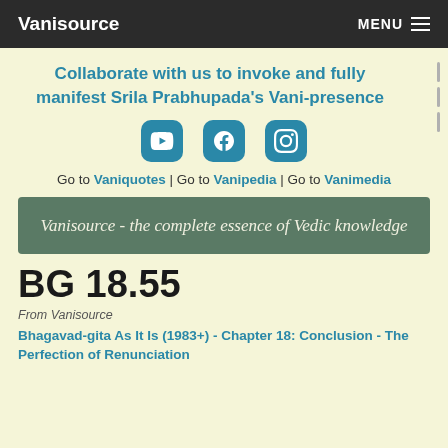Vanisource | MENU
Collaborate with us to invoke and fully manifest Srila Prabhupada's Vani-presence
[Figure (illustration): Three social media icons: YouTube, Facebook, Instagram in teal rounded square buttons]
Go to Vaniquotes | Go to Vanipedia | Go to Vanimedia
Vanisource - the complete essence of Vedic knowledge
BG 18.55
From Vanisource
Bhagavad-gita As It Is (1983+) - Chapter 18: Conclusion - The Perfection of Renunciation